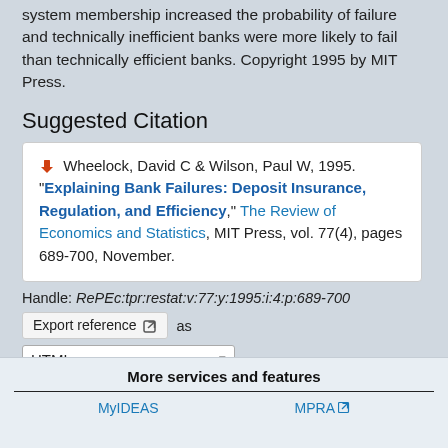system membership increased the probability of failure and technically inefficient banks were more likely to fail than technically efficient banks. Copyright 1995 by MIT Press.
Suggested Citation
Wheelock, David C & Wilson, Paul W, 1995. "Explaining Bank Failures: Deposit Insurance, Regulation, and Efficiency," The Review of Economics and Statistics, MIT Press, vol. 77(4), pages 689-700, November.
Handle: RePEc:tpr:restat:v:77:y:1995:i:4:p:689-700
Export reference as
HTML
More services and features
MyIDEAS
MPRA